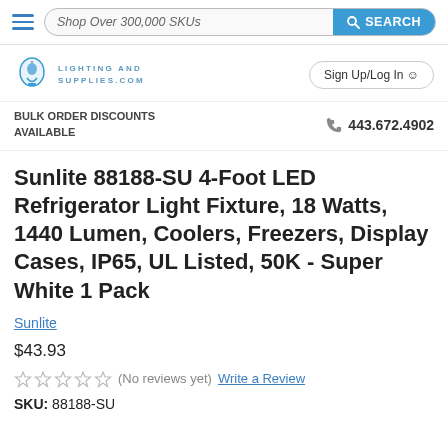Shop Over 300,000 SKUs | SEARCH
[Figure (logo): LightingAndSupplies.com logo with lightbulb icon]
Sign Up/Log In
BULK ORDER DISCOUNTS AVAILABLE
443.672.4902
Sunlite 88188-SU 4-Foot LED Refrigerator Light Fixture, 18 Watts, 1440 Lumen, Coolers, Freezers, Display Cases, IP65, UL Listed, 50K - Super White 1 Pack
Sunlite
$43.93
(No reviews yet) Write a Review
SKU: 88188-SU